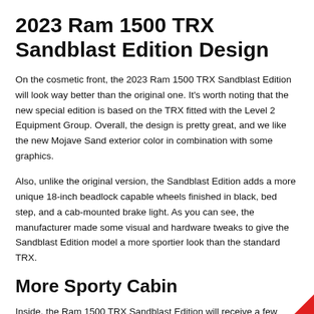2023 Ram 1500 TRX Sandblast Edition Design
On the cosmetic front, the 2023 Ram 1500 TRX Sandblast Edition will look way better than the original one. It's worth noting that the new special edition is based on the TRX fitted with the Level 2 Equipment Group. Overall, the design is pretty great, and we like the new Mojave Sand exterior color in combination with some graphics.
Also, unlike the original version, the Sandblast Edition adds a more unique 18-inch beadlock capable wheels finished in black, bed step, and a cab-mounted brake light. As you can see, the manufacturer made some visual and hardware tweaks to give the Sandblast Edition model a more sportier look than the standard TRX.
More Sporty Cabin
Inside, the Ram 1500 TRX Sandblast Edition will receive a few extras compared to the original one. Furthermore, the cabin remains comfortable, and there is enough room for up to five passengers. We like every inch of this truck, especially new accent stitching, carbon